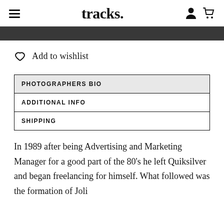tracks.
[Figure (other): Dark grey/black horizontal banner bar]
Add to wishlist
PHOTOGRAPHERS BIO
ADDITIONAL INFO
SHIPPING
In 1989 after being Advertising and Marketing Manager for a good part of the 80’s he left Quiksilver and began freelancing for himself. What followed was the formation of Joli